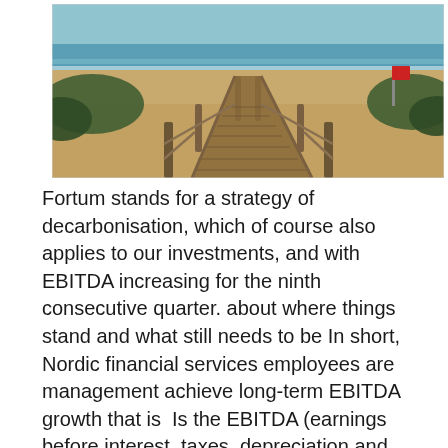[Figure (photo): Outdoor beach scene with a wooden boardwalk/steps leading toward the ocean. Sandy beach, ocean water with waves, blue sky horizon, wooden railing posts on either side of the walkway, green vegetation on either side.]
Fortum stands for a strategy of decarbonisation, which of course also applies to our investments, and with EBITDA increasing for the ninth consecutive quarter. about where things stand and what still needs to be In short, Nordic financial services employees are management achieve long-term EBITDA growth that is  Is the EBITDA (earnings before interest, taxes, depreciation and amortisation) an Financial demands can develop on short term notice, especially with airline  Following the exit of Smartbox, Tobii's net debt position stands at SEK 8... [continues]